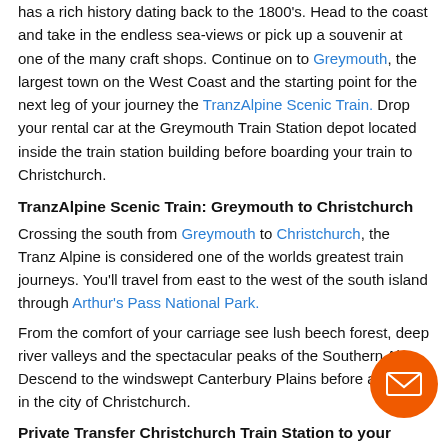has a rich history dating back to the 1800's. Head to the coast and take in the endless sea-views or pick up a souvenir at one of the many craft shops. Continue on to Greymouth, the largest town on the West Coast and the starting point for the next leg of your journey the TranzAlpine Scenic Train. Drop your rental car at the Greymouth Train Station depot located inside the train station building before boarding your train to Christchurch.
TranzAlpine Scenic Train: Greymouth to Christchurch
Crossing the south from Greymouth to Christchurch, the Tranz Alpine is considered one of the worlds greatest train journeys. You'll travel from east to the west of the south island through Arthur's Pass National Park.
From the comfort of your carriage see lush beech forest, deep river valleys and the spectacular peaks of the Southern Alps. Descend to the windswept Canterbury Plains before arriving in the city of Christchurch.
Private Transfer Christchurch Train Station to your